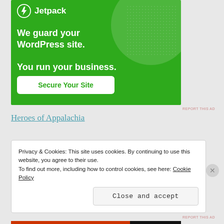[Figure (illustration): Jetpack advertisement banner with green background. Shows Jetpack logo (lightning bolt icon) and text: 'We guard your WordPress site. You run your business.' with a 'Secure Your Site' button.]
REPORT THIS AD
Heroes of Appalachia
Privacy & Cookies: This site uses cookies. By continuing to use this website, you agree to their use.
To find out more, including how to control cookies, see here: Cookie Policy
Close and accept